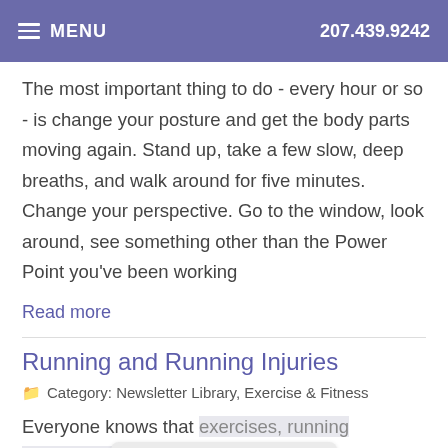MENU  207.439.9242
The most important thing to do - every hour or so - is change your posture and get the body parts moving again. Stand up, take a few slow, deep breaths, and walk around for five minutes. Change your perspective. Go to the window, look around, see something other than the Power Point you've been working
Read more
Running and Running Injuries
Category: Newsletter Library, Exercise & Fitness
Everyone knows that exercises, running to ...1.2